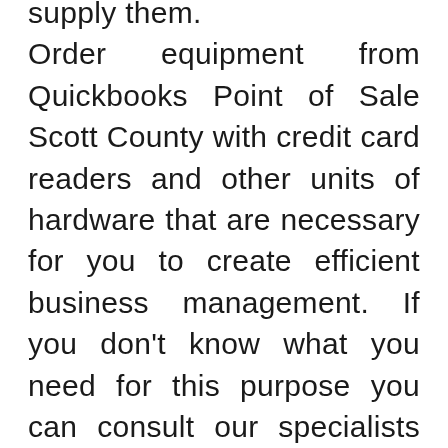supply them. Order equipment from Quickbooks Point of Sale Scott County with credit card readers and other units of hardware that are necessary for you to create efficient business management. If you don't know what you need for this purpose you can consult our specialists and they will give you full information and help you to pick the necessary equipment set. Our systems are among the most popular and prove their quality in work. Save your time and money. Contact Scott Quickbooks POS Company for free consultation, become our client and get professional